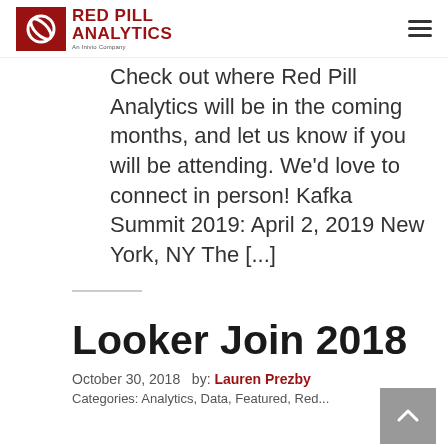Red Pill Analytics — An Inivio Company
Check out where Red Pill Analytics will be in the coming months, and let us know if you will be attending. We'd love to connect in person! Kafka Summit 2019: April 2, 2019 New York, NY The [...]
Looker Join 2018
October 30, 2018  by: Lauren Prezby
Categories: Analytics, Data, Featured, Red...